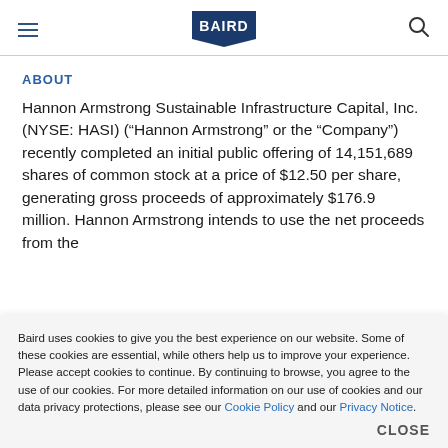BAIRD
ABOUT
Hannon Armstrong Sustainable Infrastructure Capital, Inc. (NYSE: HASI) (“Hannon Armstrong” or the “Company”) recently completed an initial public offering of 14,151,689 shares of common stock at a price of $12.50 per share, generating gross proceeds of approximately $176.9 million. Hannon Armstrong intends to use the net proceeds from the
Baird uses cookies to give you the best experience on our website. Some of these cookies are essential, while others help us to improve your experience. Please accept cookies to continue. By continuing to browse, you agree to the use of our cookies. For more detailed information on our use of cookies and our data privacy protections, please see our Cookie Policy and our Privacy Notice.
CLOSE